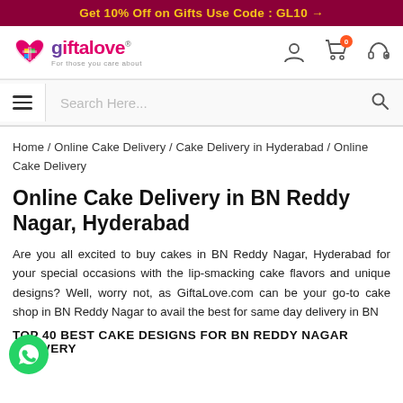Get 10% Off on Gifts Use Code : GL10 →
[Figure (logo): GiftaLove logo with heart icon and tagline 'For those you care about']
Search Here...
Home / Online Cake Delivery / Cake Delivery in Hyderabad / Online Cake Delivery
Online Cake Delivery in BN Reddy Nagar, Hyderabad
Are you all excited to buy cakes in BN Reddy Nagar, Hyderabad for your special occasions with the lip-smacking cake flavors and unique designs? Well, worry not, as GiftaLove.com can be your go-to cake shop in BN Reddy Nagar to avail the best for same day delivery in BN
TOP 40 BEST CAKE DESIGNS FOR BN REDDY NAGAR DELIVERY